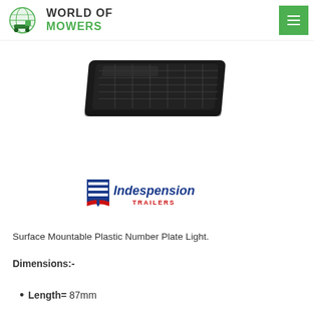WORLD OF MOWERS
[Figure (photo): Black plastic surface mountable number plate light, viewed from above at an angle, showing its rectangular housing with ribbed/grated top surface]
[Figure (logo): Indespension Trailers logo — blue rectangle with white stripes and red/blue shield, with 'Indespension' in dark blue bold italic and 'TRAILERS' in red below]
Surface Mountable Plastic Number Plate Light.
Dimensions:-
Length= 87mm